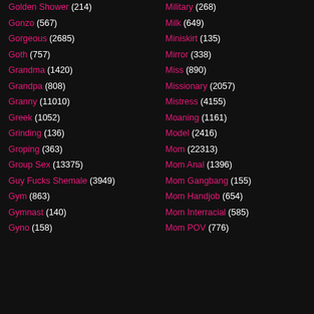Golden Shower (214)
Gonzo (567)
Gorgeous (2685)
Goth (757)
Grandma (1420)
Grandpa (808)
Granny (11010)
Greek (1052)
Grinding (136)
Groping (363)
Group Sex (13375)
Guy Fucks Shemale (3949)
Gym (863)
Gymnast (140)
Gyno (158)
Military (268)
Milk (649)
Miniskirt (135)
Mirror (338)
Miss (890)
Missionary (2057)
Mistress (4155)
Moaning (1161)
Model (2416)
Mom (22313)
Mom Anal (1396)
Mom Gangbang (155)
Mom Handjob (654)
Mom Interracial (585)
Mom POV (776)